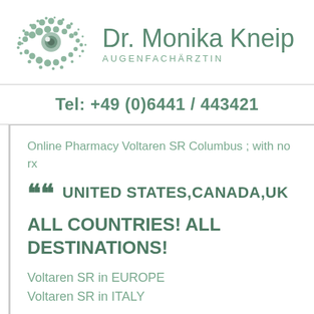[Figure (logo): Stylized eye graphic in green halftone dots]
Dr. Monika Kneip
AUGENFACHÄRZTIN
Tel: +49 (0)6441 / 443421
Online Pharmacy Voltaren SR Columbus ; with no rx
UNITED STATES,CANADA,UK
ALL COUNTRIES! ALL DESTINATIONS!
Voltaren SR in EUROPE
Voltaren SR in ITALY